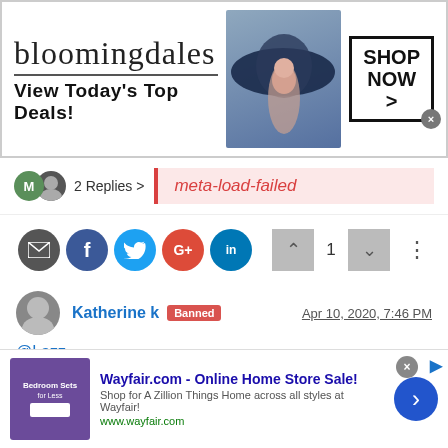[Figure (photo): Bloomingdales advertisement banner with logo text 'bloomingdales', tagline 'View Today's Top Deals!', woman in large hat, and 'SHOP NOW >' button]
2 Replies >
meta-load-failed
[Figure (other): Social sharing buttons: email, Facebook, Twitter, Google+, LinkedIn; vote buttons with up arrow, 1, down arrow; and more options (three dots)]
Katherine k Banned — Apr 10, 2020, 7:46 PM
@Lazz
Well said.. But I'm seeing all thoughts..
[Figure (other): Wayfair.com advertisement: 'Wayfair.com - Online Home Store Sale! Shop for A Zillion Things Home across all styles at Wayfair! www.wayfair.com']